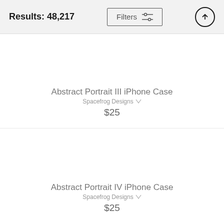Results: 48,217
Abstract Portrait III iPhone Case
Spacefrog Designs
$25
Abstract Portrait IV iPhone Case
Spacefrog Designs
$25